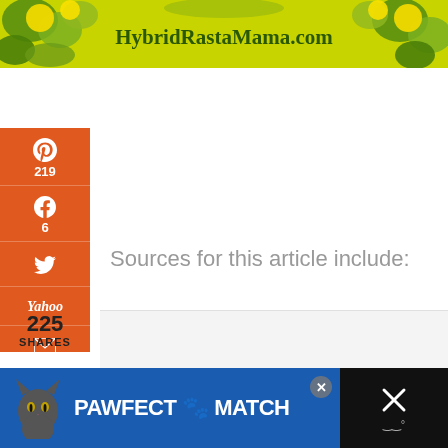[Figure (illustration): HybridRastaMama.com banner with yellow dandelion flower background and bold green text]
[Figure (infographic): Orange social media share sidebar with Pinterest (219), Facebook (6), Twitter, Yahoo, Email, Print icons and 225 SHARES total]
Sources for this article include:
[Figure (infographic): Floating share button (circle with share icon) and carousel navigation dots]
[Figure (advertisement): PAWFECT MATCH advertisement banner with cat image on dark/blue background with close button]